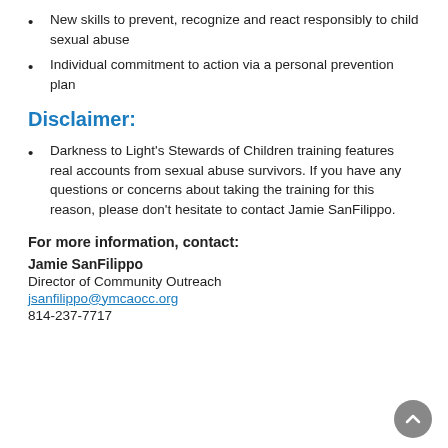New skills to prevent, recognize and react responsibly to child sexual abuse
Individual commitment to action via a personal prevention plan
Disclaimer:
Darkness to Light's Stewards of Children training features real accounts from sexual abuse survivors. If you have any questions or concerns about taking the training for this reason, please don't hesitate to contact Jamie SanFilippo.
For more information, contact:
Jamie SanFilippo
Director of Community Outreach
jsanfilippo@ymcaocc.org
814-237-7717